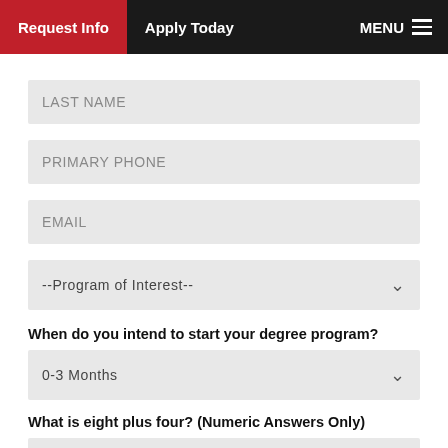Request Info | Apply Today | MENU
LAST NAME
PRIMARY PHONE
EMAIL
--Program of Interest--
When do you intend to start your degree program?
0-3 Months
What is eight plus four? (Numeric Answers Only)
CAPTCHA